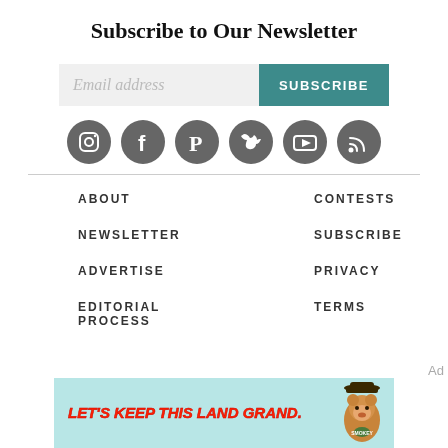Subscribe to Our Newsletter
[Figure (infographic): Email subscription form with input field labeled 'Email address' and a teal SUBSCRIBE button]
[Figure (infographic): Row of 6 social media icon circles (gray): Instagram, Facebook, Pinterest, Twitter, YouTube, RSS]
ABOUT
CONTESTS
NEWSLETTER
SUBSCRIBE
ADVERTISE
PRIVACY
EDITORIAL PROCESS
TERMS
[Figure (infographic): Banner ad with light blue background, text 'LET'S KEEP THIS LAND GRAND.' in red/yellow italic font, with Smokey Bear mascot on right]
Ad